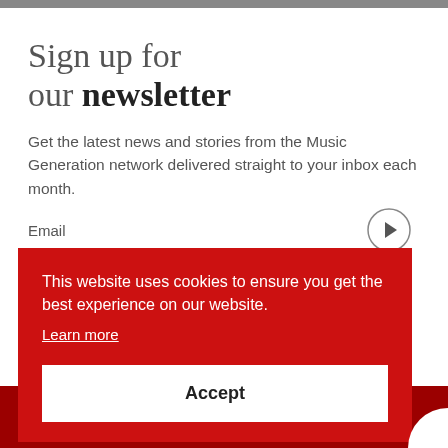Sign up for our newsletter
Get the latest news and stories from the Music Generation network delivered straight to your inbox each month.
Email
This website uses cookies to ensure you get the best experience on our website.
Learn more
Accept